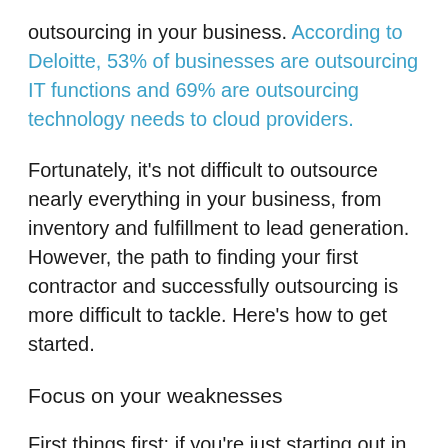outsourcing in your business. According to Deloitte, 53% of businesses are outsourcing IT functions and 69% are outsourcing technology needs to cloud providers.
Fortunately, it's not difficult to outsource nearly everything in your business, from inventory and fulfillment to lead generation. However, the path to finding your first contractor and successfully outsourcing is more difficult to tackle. Here's how to get started.
Focus on your weaknesses
First things first: if you're just starting out in your business journey, choose a business that suits your strengths from the start. If you're a marketer first and a product person second, try dropshipping to blend the best of both worlds. Or, if you're talented at content strategy but less motivated to focus on relationship management, try to...